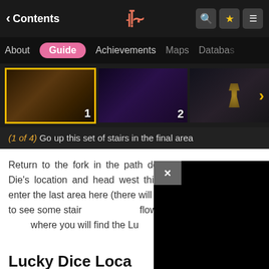< Contents | [logo] | [search] [star] [menu]
About | Guide (active) | Achievements | Maps | Database
[Figure (screenshot): Gallery of 3 game screenshots numbered 1, 2, 3 with a forward arrow. First image selected with yellow/gold border.]
(1 of 4) Go up this set of stairs in the final area
Return to the fork in the path described in the previous Die's location and head west this time. As soon as you enter the last area here (there will be a big fight), look north to see some stair... flowers to cross to the up... where you will find the Lu...
Lucky Dice Loca